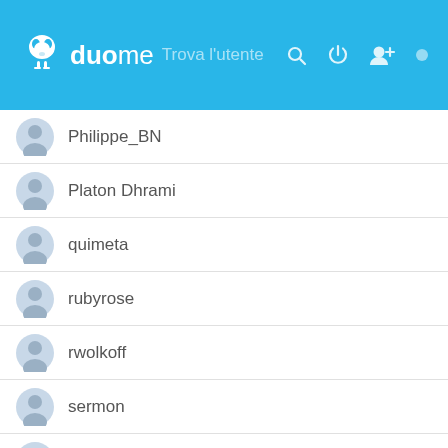duome — app header with search and icons
Philippe_BN
Platon Dhrami
quimeta
rubyrose
rwolkoff
sermon
Sonia
torino.it@gmail.com